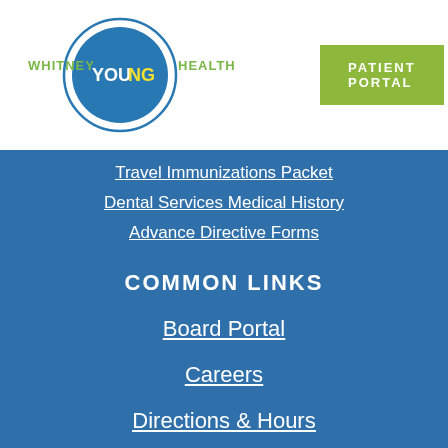[Figure (logo): Whitney Young Health logo with circular blue badge and green text]
PATIENT PORTAL
Travel Immunizations Packet
Dental Services Medical History
Advance Directive Forms
COMMON LINKS
Board Portal
Careers
Directions & Hours
Donate
Employee Email